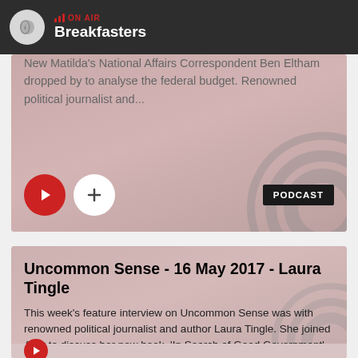ON AIR Breakfasters
New Matilda's National Affairs Correspondent Ben Eltham dropped by to analyse the federal budget. Renowned political journalist and...
[Figure (screenshot): Play button (red circle with white triangle), add button (white circle with plus), and PODCAST badge on card 1]
Uncommon Sense - 16 May 2017 - Laura Tingle
This week's feature interview on Uncommon Sense was with renowned political journalist and author Laura Tingle. She joined Amy to discuss her new book, 'In Search of Good Government', and talks about Malcolm...